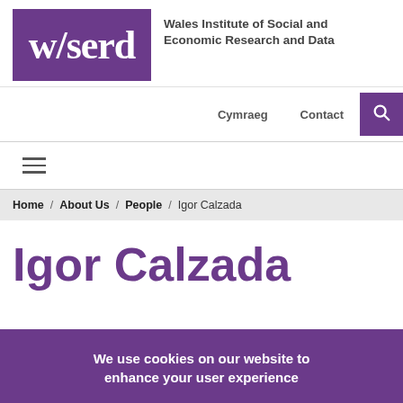[Figure (logo): WISERD logo - purple rectangle with white text 'w/serd']
Wales Institute of Social and Economic Research and Data
Cymraeg   Contact   [search icon]
[hamburger menu icon]
Home / About Us / People / Igor Calzada
Igor Calzada
We use cookies on our website to enhance your user experience